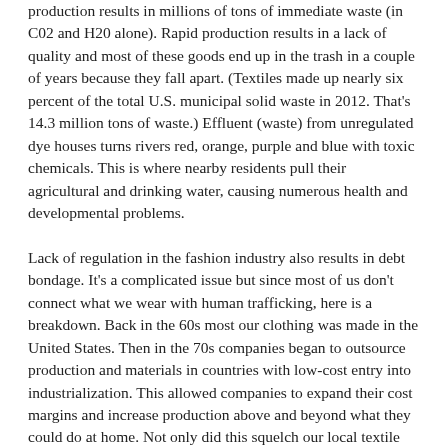production results in millions of tons of immediate waste (in C02 and H20 alone). Rapid production results in a lack of quality and most of these goods end up in the trash in a couple of years because they fall apart. (Textiles made up nearly six percent of the total U.S. municipal solid waste in 2012. That's 14.3 million tons of waste.) Effluent (waste) from unregulated dye houses turns rivers red, orange, purple and blue with toxic chemicals. This is where nearby residents pull their agricultural and drinking water, causing numerous health and developmental problems.
Lack of regulation in the fashion industry also results in debt bondage. It's a complicated issue but since most of us don't connect what we wear with human trafficking, here is a breakdown. Back in the 60s most our clothing was made in the United States. Then in the 70s companies began to outsource production and materials in countries with low-cost entry into industrialization. This allowed companies to expand their cost margins and increase production above and beyond what they could do at home. Not only did this squelch our local textile market, it also made monitoring incredibly difficult as it's hard to keep an eye on suppliers that are far away. That is if